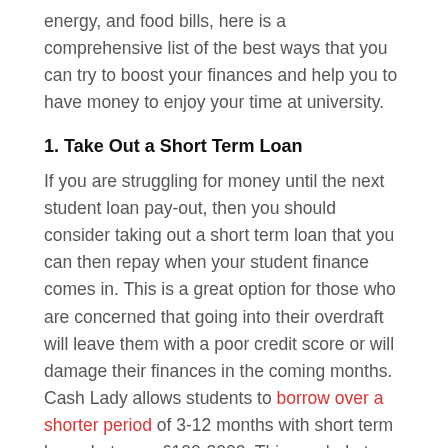energy, and food bills, here is a comprehensive list of the best ways that you can try to boost your finances and help you to have money to enjoy your time at university.
1. Take Out a Short Term Loan
If you are struggling for money until the next student loan pay-out, then you should consider taking out a short term loan that you can then repay when your student finance comes in. This is a great option for those who are concerned that going into their overdraft will leave them with a poor credit score or will damage their finances in the coming months. Cash Lady allows students to borrow over a shorter period of 3-12 months with short term loans between £100-2000. This can help to support you during your time as a student without affecting your financial situation as a graduate, with the ability to pay this off as soon as you leave university.